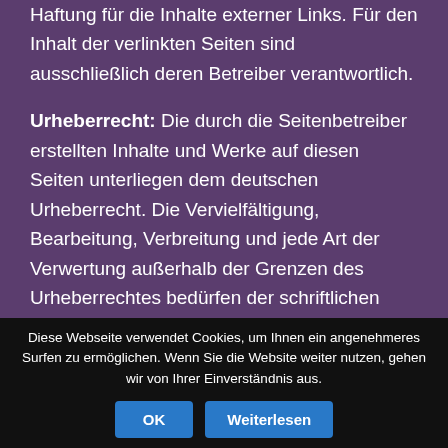Haftung für die Inhalte externer Links. Für den Inhalt der verlinkten Seiten sind ausschließlich deren Betreiber verantwortlich.
Urheberrecht: Die durch die Seitenbetreiber erstellten Inhalte und Werke auf diesen Seiten unterliegen dem deutschen Urheberrecht. Die Vervielfältigung, Bearbeitung, Verbreitung und jede Art der Verwertung außerhalb der Grenzen des Urheberrechtes bedürfen der schriftlichen Zustimmung des jeweiligen
Diese Webseite verwendet Cookies, um Ihnen ein angenehmeres Surfen zu ermöglichen. Wenn Sie die Website weiter nutzen, gehen wir von Ihrer Einverständnis aus.